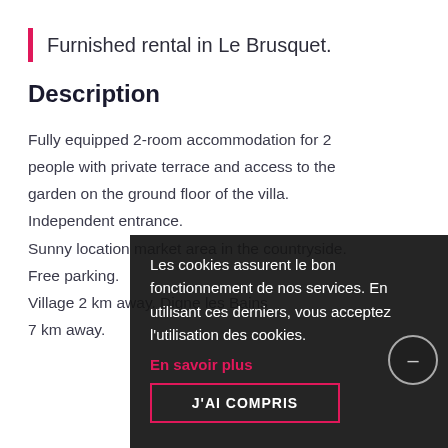Furnished rental in Le Brusquet.
Description
Fully equipped 2-room accommodation for 2 people with private terrace and access to the garden on the ground floor of the villa. Independent entrance. Sunny location market area in the countryside. Free parking. Village 2 km away. Digne les Bains 7 km away.
Les cookies assurent le bon fonctionnement de nos services. En utilisant ces derniers, vous acceptez l'utilisation des cookies. En savoir plus J'AI COMPRIS